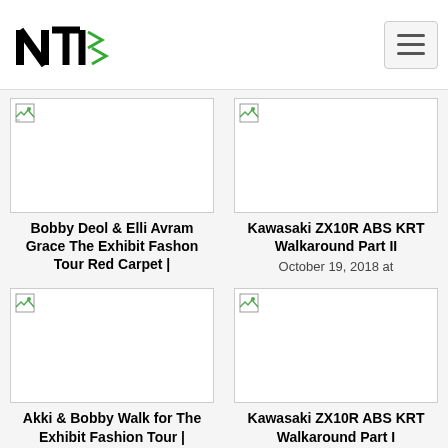NTI logo and navigation
[Figure (photo): Broken image placeholder for Bobby Deol & Elli Avram article]
Bobby Deol & Elli Avram Grace The Exhibit Fashon Tour Red Carpet |
[Figure (photo): Broken image placeholder for Kawasaki ZX10R ABS KRT Walkaround Part II article]
Kawasaki ZX10R ABS KRT Walkaround Part II
October 19, 2018 at
[Figure (photo): Broken image placeholder for Akki & Bobby Walk article]
Akki & Bobby Walk for The Exhibit Fashion Tour | Bollywood | News
[Figure (photo): Broken image placeholder for Kawasaki ZX10R ABS KRT Walkaround Part I article]
Kawasaki ZX10R ABS KRT Walkaround Part I
October 19, 2018 at
[Figure (photo): Broken image placeholder bottom-left]
[Figure (photo): Broken image placeholder bottom-right]